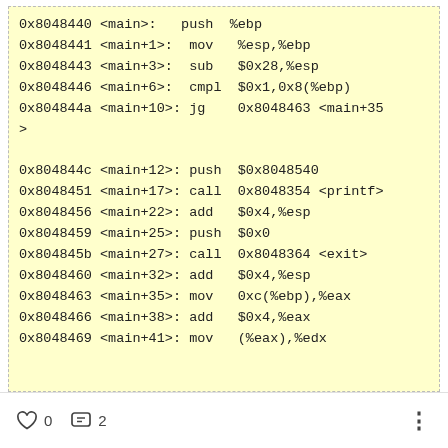0x8048440 <main>:   push  %ebp
0x8048441 <main+1>:  mov   %esp,%ebp
0x8048443 <main+3>:  sub   $0x28,%esp
0x8048446 <main+6>:  cmpl  $0x1,0x8(%ebp)
0x804844a <main+10>: jg    0x8048463 <main+35>
>
0x804844c <main+12>: push  $0x8048540
0x8048451 <main+17>: call  0x8048354 <printf>
0x8048456 <main+22>: add   $0x4,%esp
0x8048459 <main+25>: push  $0x0
0x804845b <main+27>: call  0x8048364 <exit>
0x8048460 <main+32>: add   $0x4,%esp
0x8048463 <main+35>: mov   0xc(%ebp),%eax
0x8048466 <main+38>: add   $0x4,%eax
0x8048469 <main+41>: mov   (%eax),%edx
♡ 0   ··· 2   ⋮